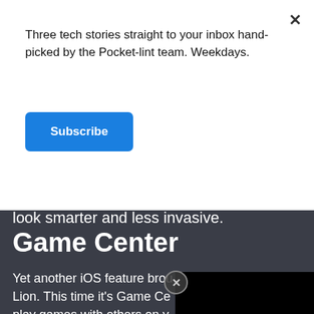Three tech stories straight to your inbox hand-picked by the Pocket-lint team. Weekdays.
Subscribe
look smarter and less invasive.
Game Center
Yet another iOS feature brou... Lion. This time it's Game Ce... play games with others on y...
[Figure (other): Black video player rectangle overlay]
The Apple Mac has never really been one to embrace gaming on the go, but presumably seeing what a great success it is on the iPad, iPhone, and iPod touch, Apple hopes it can emulate that success